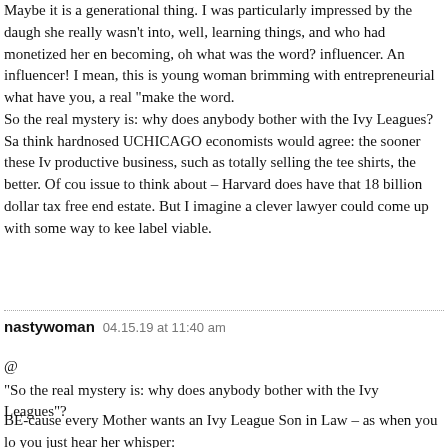Maybe it is a generational thing. I was particularly impressed by the daughter she really wasn't into, well, learning things, and who had monetized her entrepreneurial spirit becoming, oh what was the word? influencer. An influencer! I mean, this is a young woman brimming with entrepreneurial what have you, a real "make" the word. So the real mystery is: why does anybody bother with the Ivy Leagues? Sa think hardnosed UCHICAGO economists would agree: the sooner these Iv productive business, such as totally selling the tee shirts, the better. Of cou issue to think about – Harvard does have that 18 billion dollar tax free end estate. But I imagine a clever lawyer could come up with some way to kee label viable.
nastywoman   04.15.19 at 11:40 am
@
"So the real mystery is: why does anybody bother with the Ivy Leagues"?
BE-cause every Mother wants an Ivy League Son in Law – as when you lo you just hear her whisper:
"They -(The "Trojans") make GREAT "Marriage Material" – and most of through two or three hubby's in life, (and some male "Trojans" even throu